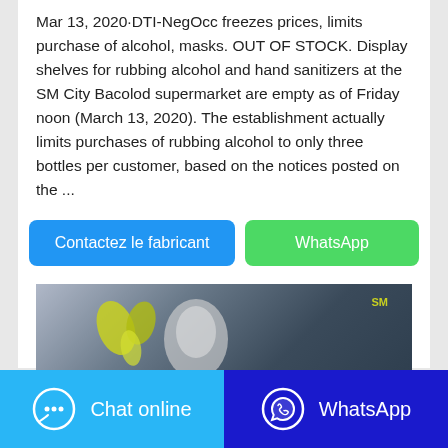Mar 13, 2020·DTI-NegOcc freezes prices, limits purchase of alcohol, masks. OUT OF STOCK. Display shelves for rubbing alcohol and hand sanitizers at the SM City Bacolod supermarket are empty as of Friday noon (March 13, 2020). The establishment actually limits purchases of rubbing alcohol to only three bottles per customer, based on the notices posted on the ...
[Figure (other): Two buttons: 'Contactez le fabricant' (blue, rounded) and 'WhatsApp' (green, rounded)]
[Figure (photo): A blurry photo showing what appears to be a store shelf or product display with yellow and white shapes visible, possibly bottles. An SM logo is visible in the upper right. A clear/white bottle is visible in the center-bottom area.]
[Figure (other): Footer bar with two buttons: 'Chat online' (light blue background with chat bubble icon) and 'WhatsApp' (dark blue/indigo background with WhatsApp icon)]